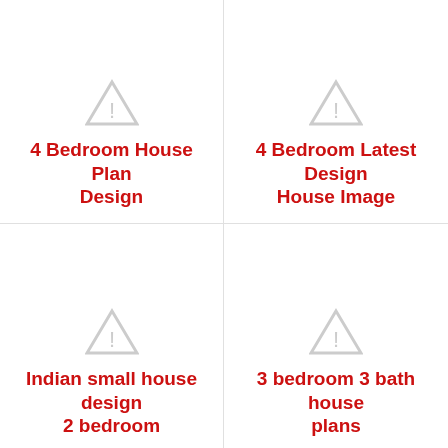[Figure (other): Warning/broken image placeholder icon (triangle with exclamation mark) for 4 Bedroom House Plan Design]
4 Bedroom House Plan Design
[Figure (other): Warning/broken image placeholder icon (triangle with exclamation mark) for 4 Bedroom Latest Design House Image]
4 Bedroom Latest Design House Image
[Figure (other): Warning/broken image placeholder icon (triangle with exclamation mark) for Indian small house design 2 bedroom]
Indian small house design 2 bedroom
[Figure (other): Warning/broken image placeholder icon (triangle with exclamation mark) for 3 bedroom 3 bath house plans]
3 bedroom 3 bath house plans